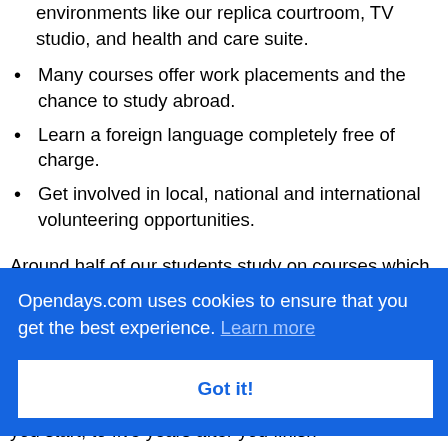environments like our replica courtroom, TV studio, and health and care suite.
Many courses offer work placements and the chance to study abroad.
Learn a foreign language completely free of charge.
Get involved in local, national and international volunteering opportunities.
Around half of our students study on courses which are accredited or validated by professional
Opendays.com uses cookies to ensure that you get the best experience. Learn more
Got it!
nt
you start, to five years after you finish